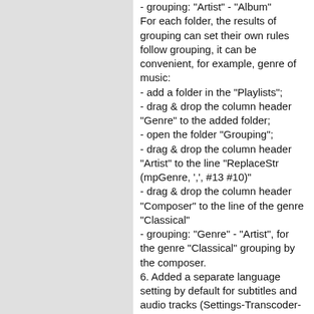- grouping: "Artist" - "Album"
For each folder, the results of grouping can set their own rules follow grouping, it can be convenient, for example, genre of music:
- add a folder in the "Playlists";
- drag & drop the column header "Genre" to the added folder;
- open the folder "Grouping";
- drag & drop the column header "Artist" to the line "ReplaceStr (mpGenre, ',', #13 #10)"
- drag & drop the column header "Composer" to the line of the genre "Classical"
- grouping: "Genre" - "Artist", for the genre "Classical" grouping by the composer.
6. Added a separate language setting by default for subtitles and audio tracks (Settings-Transcoder-Subtitles).
7. For files ape, flac, wv now not set a transcoding profile when Scan, transcoding profile is set to File types